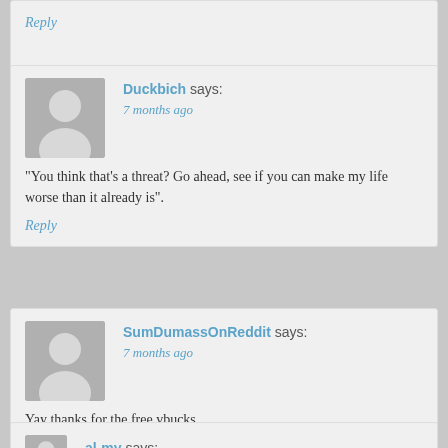Reply
Duckbich says: 7 months ago
"You think that's a threat? Go ahead, see if you can make my life worse than it already is".
Reply
SumDumassOnReddit says: 7 months ago
Yay thanks for the free vbucks
Reply
al-my says: